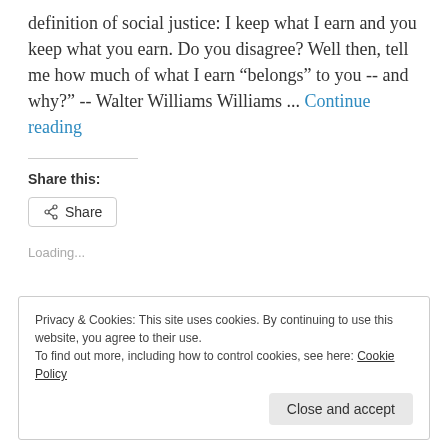definition of social justice: I keep what I earn and you keep what you earn. Do you disagree? Well then, tell me how much of what I earn “belongs” to you -- and why?" -- Walter Williams Williams ... Continue reading
Share this:
Share
Loading...
Privacy & Cookies: This site uses cookies. By continuing to use this website, you agree to their use.
To find out more, including how to control cookies, see here: Cookie Policy
Close and accept